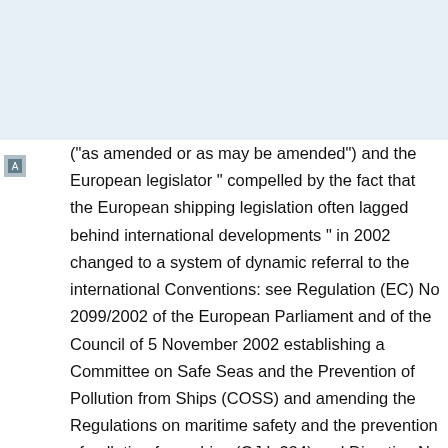Ships Decree 2004 (english, uncontrolled)
Geldigheid: 01-07-2004 t/m 01-07-2015   Status: Was geldig
("as amended or as may be amended") and the European legislator " compelled by the fact that the European shipping legislation often lagged behind international developments " in 2002 changed to a system of dynamic referral to the international Conventions: see Regulation (EC) No 2099/2002 of the European Parliament and of the Council of 5 November 2002 establishing a Committee on Safe Seas and the Prevention of Pollution from Ships (COSS) and amending the Regulations on maritime safety and the prevention of pollution from ships (OJ L 324) and Directive No 2002/84/EC of the European Parliament and of the Council of 5 November 2002 amending the Directives on maritime safety and the prevention of pollution from ships